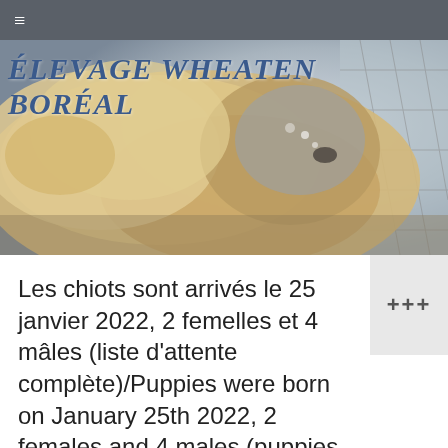≡
ÉLEVAGE WHEATEN BORÉAL
[Figure (photo): Close-up photo of two soft-coated Wheaten Terrier puppies with fluffy beige/cream fur against a wire fence background]
Les chiots sont arrivés le 25 janvier 2022, 2 femelles et 4 mâles (liste d'attente complète)/Puppies were born on January 25th 2022, 2 females and 4 males (puppies are all spoken for)
+++